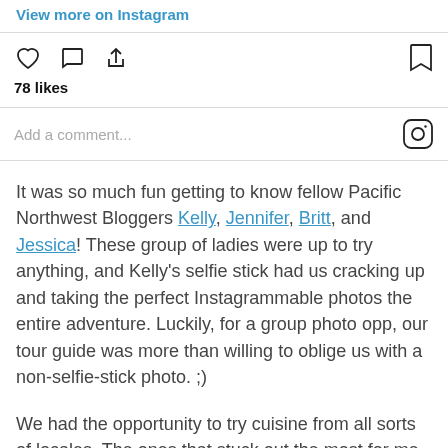View more on Instagram
[Figure (screenshot): Instagram action bar with heart, comment, share icons on left and bookmark icon on right]
78 likes
Add a comment...
It was so much fun getting to know fellow Pacific Northwest Bloggers Kelly, Jennifer, Britt, and Jessica! These group of ladies were up to try anything, and Kelly's selfie stick had us cracking up and taking the perfect Instagrammable photos the entire adventure. Luckily, for a group photo opp, our tour guide was more than willing to oblige us with a non-selfie-stick photo. ;)
We had the opportunity to try cuisine from all sorts of locales. The ones that stuck out the most for me were the Indian Samosas, Greek Yogurt (yes, seriously. It was amazing!), and the tacos pictured below. We also got to try